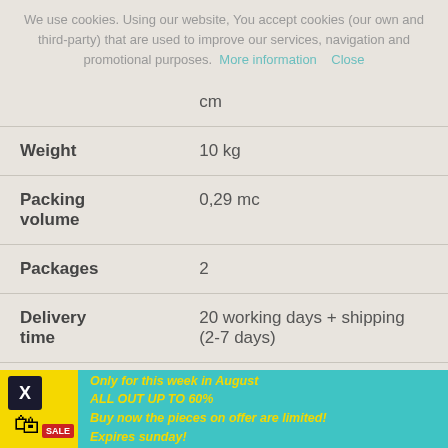We use cookies. Using our website, You accept cookies (our own and third-party) that are used to improve our services, navigation and promotional purposes. More information Close
| Property | Value |
| --- | --- |
|  | cm |
| Weight | 10 kg |
| Packing volume | 0,29 mc |
| Packages | 2 |
| Delivery time | 20 working days + shipping (2-7 days) |
| Assembly | Easy |
[Figure (infographic): Advertisement banner with yellow background icon area showing X button and shopping bag with sale badge, teal background with yellow italic bold text: Only for this week in August ALL OUT UP TO 60% Buy now the pieces on offer are limited! Expires sunday!]